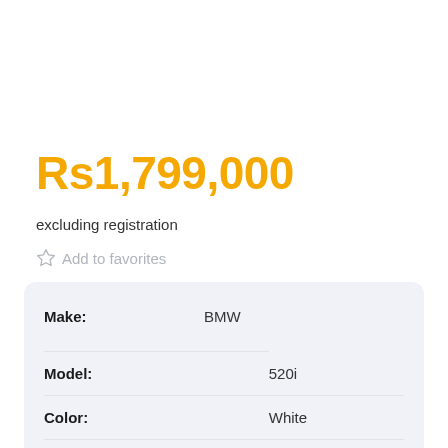Rs1,799,000
excluding registration
Add to favorites
| Label | Value |
| --- | --- |
| Make: | BMW |
| Model: | 520i |
| Color: | White |
| Drive Type: | Rear Wheel Drive |
| Transmission: | Automatic |